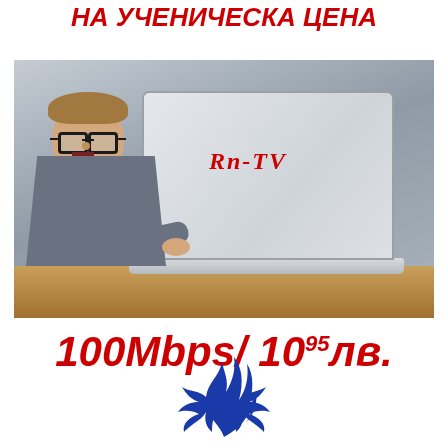НА УЧЕНИЧЕСКА ЦЕНА
[Figure (photo): Child with large glasses sitting at a laptop with RN-TV logo on the screen, mouth open in excitement, on a wooden table]
100Mbps/ 10⁹⁵лв.
[Figure (logo): Blue flame/dragon logo of RN-TV]